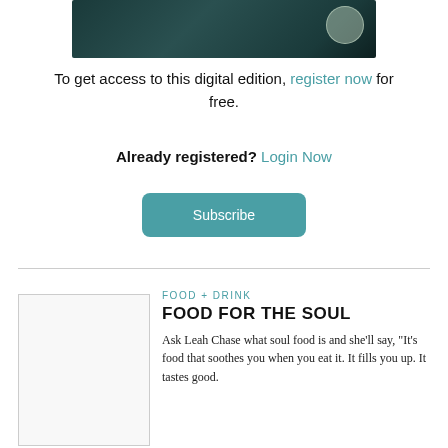[Figure (photo): Cropped top portion of a magazine cover showing a dark teal background with a hat or bowl and a circular badge/seal]
To get access to this digital edition, register now for free.
Already registered? Login Now
Subscribe
[Figure (photo): Small thumbnail image placeholder for article]
FOOD + DRINK
FOOD FOR THE SOUL
Ask Leah Chase what soul food is and she'll say, "It's food that soothes you when you eat it. It fills you up. It tastes good.